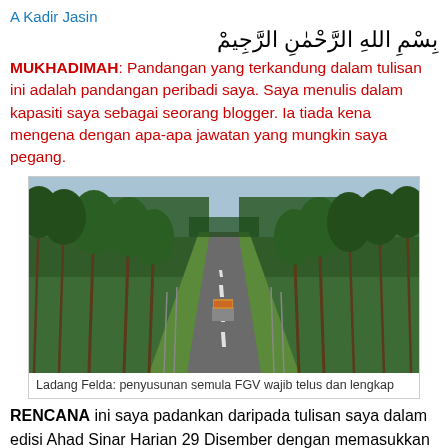A Kadir Jasin
بِسْمِ اللهِ الرَّحْمٰنِ الرَّجِيمْ
MUKHADIMAH: Pandangan yang terkandung dalam tulisan ini adalah pandangan peribadi saya. Saya menulis dalam kapasiti saya sebagai seorang blogger. Ia tiada kena mengena dengan apa-apa jawatan yang mungkin saya pegang.
[Figure (photo): A straight road through a palm oil plantation with a truck carrying palm fruit in the middle distance, flanked by tall palm trees on both sides and utility poles along the road.]
Ladang Felda: penyusunan semula FGV wajib telus dan lengkap
RENCANA ini saya padankan daripada tulisan saya dalam edisi Ahad Sinar Harian 29 Disember dengan memasukkan beberapa fakta dan hujah